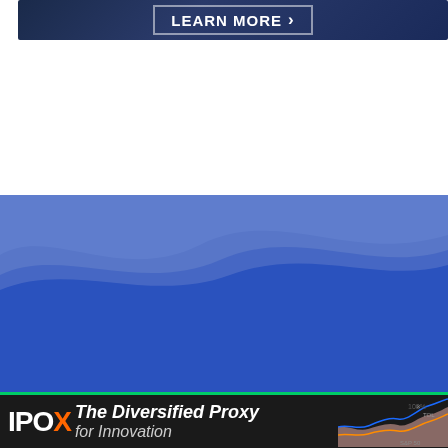[Figure (screenshot): Dark blue banner advertisement with 'LEARN MORE >' button in white text with border]
[Figure (screenshot): ADM Investor Services Inc. banner ad with London Parliament image on left, handwritten text 'Our commitment to traders extends around the globe, around the clock' in center, green Learn More button and ADM logo on right]
[Figure (screenshot): Blue wave background section of a financial website]
Share This Story
[Figure (screenshot): IPOX - The Diversified Proxy for Innovation bottom banner advertisement with line chart]
S&P 50